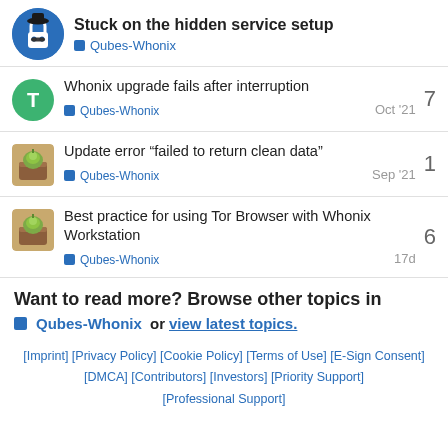Stuck on the hidden service setup — Qubes-Whonix
Whonix upgrade fails after interruption — Qubes-Whonix — 7 replies — Oct '21
Update error “failed to return clean data” — Qubes-Whonix — 1 reply — Sep '21
Best practice for using Tor Browser with Whonix Workstation — Qubes-Whonix — 6 replies — 17d
Want to read more? Browse other topics in Qubes-Whonix or view latest topics.
[Imprint] [Privacy Policy] [Cookie Policy] [Terms of Use] [E-Sign Consent] [DMCA] [Contributors] [Investors] [Priority Support] [Professional Support]